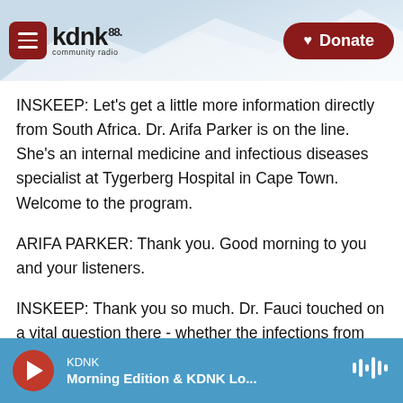KDNK 88 community radio | Donate
INSKEEP: Let's get a little more information directly from South Africa. Dr. Arifa Parker is on the line. She's an internal medicine and infectious diseases specialist at Tygerberg Hospital in Cape Town. Welcome to the program.
ARIFA PARKER: Thank you. Good morning to you and your listeners.
INSKEEP: Thank you so much. Dr. Fauci touched on a vital question there - whether the infections from the new variant are milder overall than we would expect from other variants. Do you think, based on
KDNK — Morning Edition & KDNK Lo...